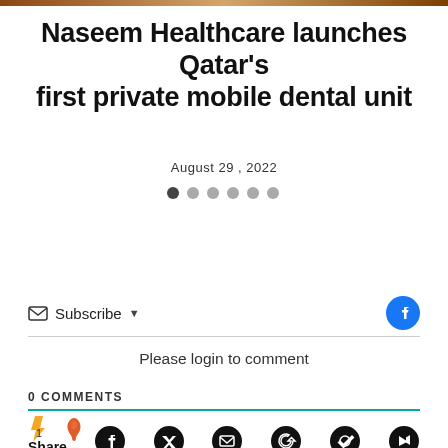Naseem Healthcare launches Qatar's first private mobile dental unit
August 29 , 2022
Please login to comment
0 COMMENTS